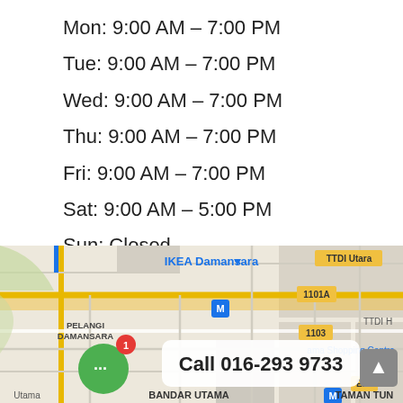Mon: 9:00 AM – 7:00 PM
Tue: 9:00 AM – 7:00 PM
Wed: 9:00 AM – 7:00 PM
Thu: 9:00 AM – 7:00 PM
Fri: 9:00 AM – 7:00 PM
Sat: 9:00 AM – 5:00 PM
Sun: Closed
[Figure (map): Google Maps screenshot showing area around IKEA Damansara, Pelangi Damansara, TTDI Utara, Bandar Utama, Taman Tun. Roads and labels visible including 1101A, 1103, E11, M metro markers. Call 016-293 9733 overlay badge visible.]